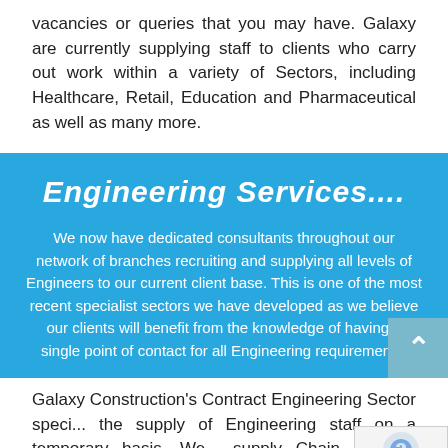vacancies or queries that you may have. Galaxy are currently supplying staff to clients who carry out work within a variety of Sectors, including Healthcare, Retail, Education and Pharmaceutical as well as many more.
Engineering Services....
We now have dedicated consultants throughout our network of branches recruiting and supplying all levels of Engineers to our current client base. This is one of the most recent specialist sectors we have developed as we believe our clients will benefit from the knowledge of having a single point of contact for all Engineering requirements.
Galaxy Construction's Contract Engineering Sector speci... the supply of Engineering staff on a temporary basis. We... supply Chain Persons through to Senior Engineers in the...